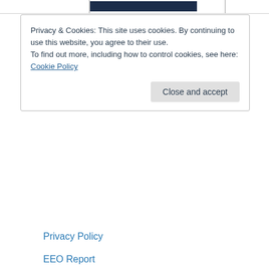[Figure (photo): Dark blue/black image in the top header area of the webpage]
Privacy & Cookies: This site uses cookies. By continuing to use this website, you agree to their use.
To find out more, including how to control cookies, see here:
Cookie Policy
Close and accept
Privacy Policy
EEO Report
Terms and Conditions of...